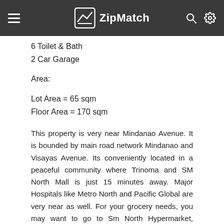ZipMatch
6 Toilet & Bath
2 Car Garage
Area:
Lot Area = 65 sqm
Floor Area = 170 sqm
This property is very near Mindanao Avenue. It is bounded by main road network Mindanao and Visayas Avenue. Its conveniently located in a peaceful community where Trinoma and SM North Mall is just 15 minutes away. Major Hospitals like Metro North and Pacific Global are very near as well. For your grocery needs, you may want to go to Sm North Hypermarket, Cherry Fooderama and also Landmark grocery.
For Transportation needs, Jeeps and FX are regularly plying the main roads Mindanao, Congressional Avenue and Visayas avenue. You may also want to go to Edsa which is near where MRT station is located. You may also opt to go